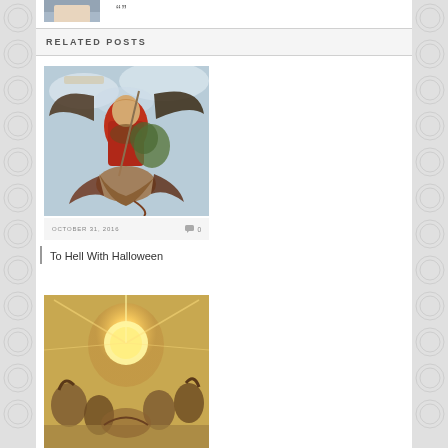[Figure (photo): Partial author photo at top of page, cropped — shows hair and white clothing]
RELATED POSTS
[Figure (photo): Classical painting of Archangel Michael defeating Satan — angel in red robes with wings and sword standing over fallen devil figure, blue and cloudy sky background]
OCTOBER 31, 2016   0
To Hell With Halloween
[Figure (photo): Classical painting showing a bright radiant figure or angel with light emanating, surrounded by other figures, warm golden tones]